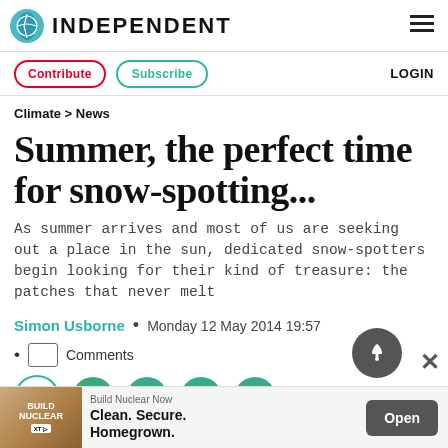INDEPENDENT
Contribute   Subscribe   LOGIN
Climate > News
Summer, the perfect time for snow-spotting...
As summer arrives and most of us are seeking out a place in the sun, dedicated snow-spotters begin looking for their kind of treasure: the patches that never melt
Simon Usborne  •  Monday 12 May 2014 19:57
• Comments
[Figure (screenshot): Social sharing icons: bookmark, Facebook, Twitter, WhatsApp, email]
Build Nuclear Now  Clean. Secure. Homegrown.  Open